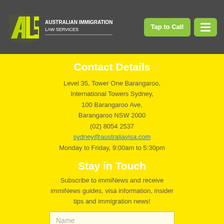[Figure (logo): Australian Immigration Law Services logo with stylized AILS letters in yellow/green on dark background, with text 'AUSTRALIAN IMMIGRATION LAW SERVICES']
Contact Details
Level 35, Tower One Barangaroo,
International Towers Sydney,
100 Barangaroo Ave,
Barangaroo NSW 2000
(02) 8054 2537
sydney@australiavisa.com
Monday to Friday, 9:00am to 5:30pm
Stay in Touch
Subscribe to immiNews and receive immiNews guides, visa information, insider tips and immigration news!
Name
Email